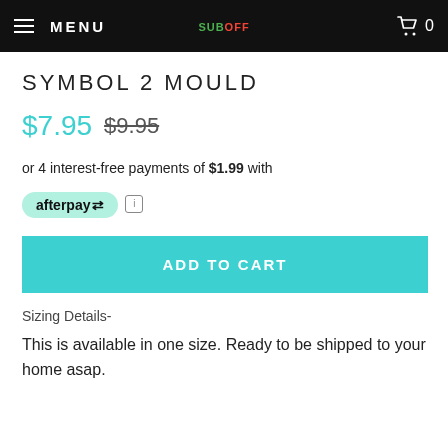MENU  [logo: SUB OFF]  🛒 0
SYMBOL 2 MOULD
$7.95  $9.95
or 4 interest-free payments of $1.99 with afterpay
ADD TO CART
Sizing Details-
This is available in one size. Ready to be shipped to your home asap.